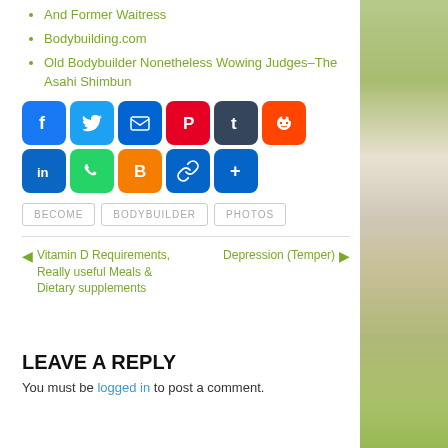And Former Waitress
Bodybuilding.com
Old Bodybuilder Nonetheless Wowing Judges–The Asahi Shimbun
[Figure (infographic): Social share buttons: Facebook (blue), Twitter (light blue), Email (blue), Pinterest (red), Tumblr (dark blue-grey), Reddit (orange-red), LinkedIn (blue), WhatsApp (green), Blogger (orange), Copy Link (blue), More/Share (blue)]
BECOME
BODYBUILDER
PHOTOS
Vitamin D Requirements, Really useful Meals & Dietary supplements
Depression (Temper)
LEAVE A REPLY
You must be logged in to post a comment.